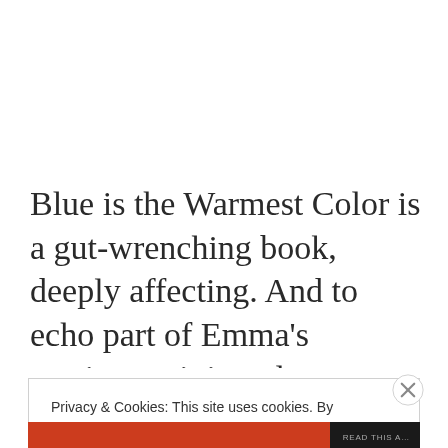Blue is the Warmest Color is a gut-wrenching book, deeply affecting. And to echo part of Emma's sentiment, it is truly an important work of LGBT fiction, a gripping coming-of-age story that…
Privacy & Cookies: This site uses cookies. By continuing to use this website, you agree to their use. To find out more, including how to control cookies, see here: Cookie Policy
Close and accept